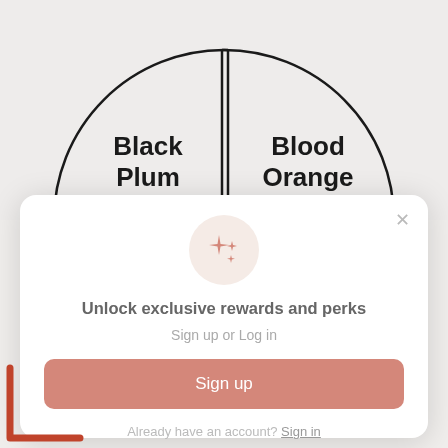[Figure (illustration): Top half of a circular dial or selector split into two halves by a vertical line, with 'Black Plum' on the left half and 'Blood Orange' on the right half, shown against a light gray background]
[Figure (illustration): White modal popup with sparkle/star icon in a peach circle, showing a loyalty rewards sign-up prompt]
Unlock exclusive rewards and perks
Sign up or Log in
Sign up
Already have an account? Sign in